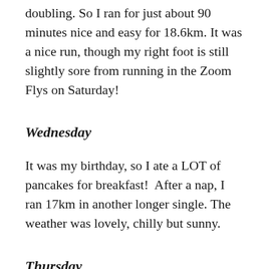doubling. So I ran for just about 90 minutes nice and easy for 18.6km. It was a nice run, though my right foot is still slightly sore from running in the Zoom Flys on Saturday!
Wednesday
It was my birthday, so I ate a LOT of pancakes for breakfast!  After a nap, I ran 17km in another longer single. The weather was lovely, chilly but sunny.
Thursday
AM: I had left my bike in town on Saturday